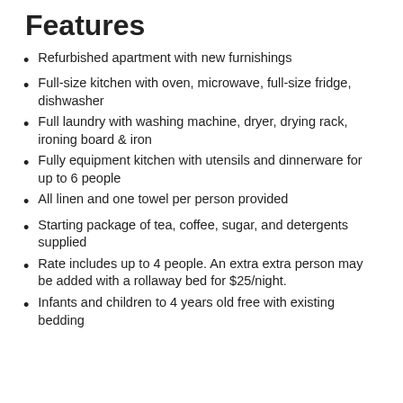Features
Refurbished apartment with new furnishings
Full-size kitchen with oven, microwave, full-size fridge, dishwasher
Full laundry with washing machine, dryer, drying rack, ironing board & iron
Fully equipment kitchen with utensils and dinnerware for up to 6 people
All linen and one towel per person provided
Starting package of tea, coffee, sugar, and detergents supplied
Rate includes up to 4 people. An extra extra person may be added with a rollaway bed for $25/night.
Infants and children to 4 years old free with existing bedding